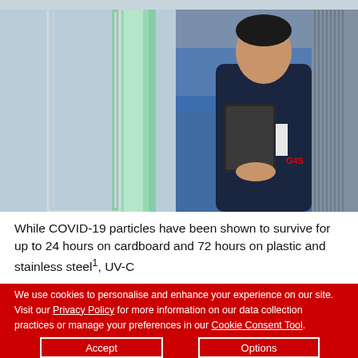[Figure (photo): A man in a dark suit with a red tie holding a tablet device, standing in an industrial or transport setting with a green glowing panel and blue-covered vehicle in the background.]
While COVID-19 particles have been shown to survive for up to 24 hours on cardboard and 72 hours on plastic and stainless steel¹, UV-C
We use cookies to personalise and enhance your experience on our site. Visit our Privacy Policy for more information on our data collection practices or manage your preferences in our Cookie Consent Tool.